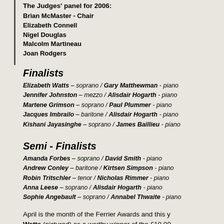The Judges' panel for 2006:
Brian McMaster - Chair
Elizabeth Connell
Nigel Douglas
Malcolm Martineau
Joan Rodgers
Finalists
Elizabeth Watts – soprano / Gary Matthewman - piano
Jennifer Johnston – mezzo / Alisdair Hogarth - piano
Martene Grimson – soprano / Paul Plummer - piano
Jacques Imbrailo – baritone / Alisdair Hogarth - piano
Kishani Jayasinghe – soprano / James Baillieu - piano
Semi - Finalists
Amanda Forbes – soprano / David Smith - piano
Andrew Conley – baritone / Kirtsen Simpson - piano
Robin Tritschler – tenor / Nicholas Rimmer - piano
Anna Leese – soprano / Alisdair Hogarth - piano
Sophie Angebault – soprano / Annabel Thwaite - piano
April is the month of the Ferrier Awards and this y... Watts (pictured) as a worthy winner of the £10,00...
Jury Chairman, Sir Brian McMaster, in his summi... of entrants this year: 50 singers in the preliminary...